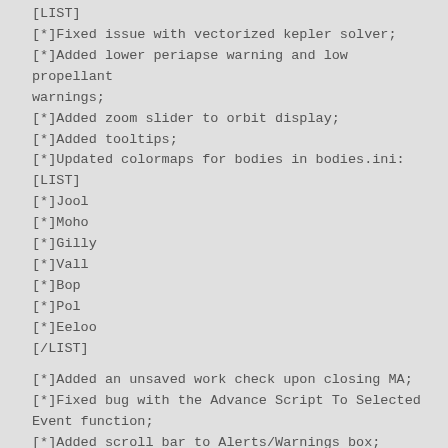[LIST]
[*]Fixed issue with vectorized kepler solver;
[*]Added lower periapse warning and low propellant warnings;
[*]Added zoom slider to orbit display;
[*]Added tooltips;
[*]Updated colormaps for bodies in bodies.ini:
[LIST]
[*]Jool
[*]Moho
[*]Gilly
[*]Vall
[*]Bop
[*]Pol
[*]Eeloo
[/LIST]
[*]Added an unsaved work check upon closing MA;
[*]Fixed bug with the Advance Script To Selected Event function;
[*]Added scroll bar to Alerts/Warnings box;
[*]Fixed rare display issue with Mission